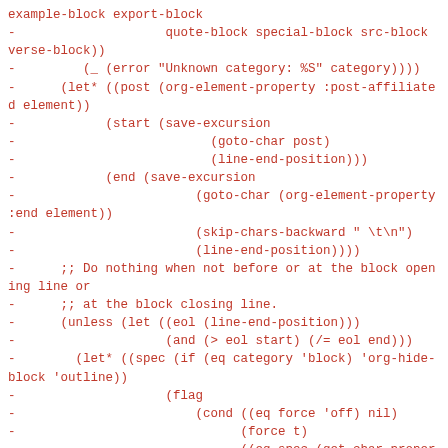example-block export-block
- quote-block special-block src-block verse-block))
- (_ (error "Unknown category: %S" category))))
- (let* ((post (org-element-property :post-affiliated element))
- (start (save-excursion
- (goto-char post)
- (line-end-position)))
- (end (save-excursion
- (goto-char (org-element-property :end element))
- (skip-chars-backward " \t\n")
- (line-end-position))))
- ;; Do nothing when not before or at the block opening line or
- ;; at the block closing line.
- (unless (let ((eol (line-end-position)))
- (and (> eol start) (/= eol end)))
- (let* ((spec (if (eq category 'block) 'org-hide-block 'outline))
- (flag
- (cond ((eq force 'off) nil)
- (force t)
- ((eq spec (get-char-property start 'invisible)) nil)
- (t t))))
- (org-flag-region start end flag spec))
- ;; When the block is hidden away, make sure